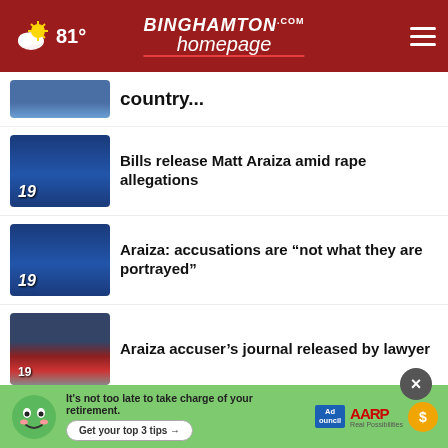81° Binghamton Homepage
...country...
Bills release Matt Araiza amid rape allegations
Araiza: accusations are “not what they are portrayed”
Araiza accuser’s journal released by lawyer
Victim identified in Liberty, Pa. shooting
Tall Ships Erie festival opens to public
country’s affidavit
[Figure (screenshot): AARP ad banner: It’s not too late to take charge of your retirement. Get your top 3 tips →]